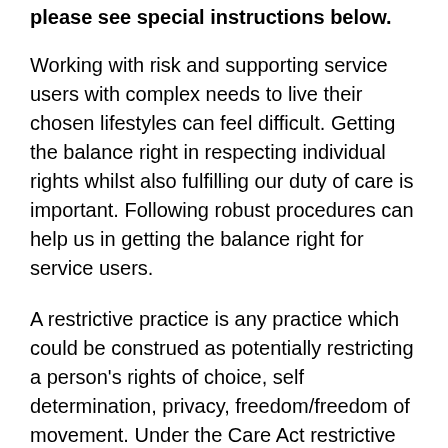please see special instructions below.
Working with risk and supporting service users with complex needs to live their chosen lifestyles can feel difficult. Getting the balance right in respecting individual rights whilst also fulfilling our duty of care is important. Following robust procedures can help us in getting the balance right for service users.
A restrictive practice is any practice which could be construed as potentially restricting a person's rights of choice, self determination, privacy, freedom/freedom of movement. Under the Care Act restrictive practices may need agreement by a social worker, and at times necessitate Deprivation of Liberty applications.
This course will assist participants to demonstrate they have complied with all CQC and legal requirements, and that alternatives to restrictive practices have been